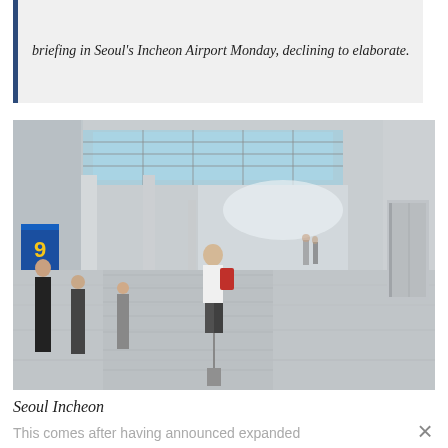briefing in Seoul's Incheon Airport Monday, declining to elaborate.
[Figure (photo): Interior of Seoul Incheon Airport showing a long corridor with glass skylight ceiling, white columns, travelers on moving walkways, a blue gate sign with yellow number 9, and an elevator on the right side.]
Seoul Incheon
This comes after having announced expanded